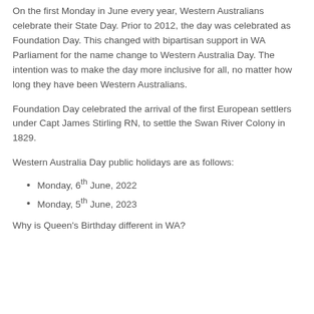On the first Monday in June every year, Western Australians celebrate their State Day. Prior to 2012, the day was celebrated as Foundation Day. This changed with bipartisan support in WA Parliament for the name change to Western Australia Day. The intention was to make the day more inclusive for all, no matter how long they have been Western Australians.
Foundation Day celebrated the arrival of the first European settlers under Capt James Stirling RN, to settle the Swan River Colony in 1829.
Western Australia Day public holidays are as follows:
Monday, 6th June, 2022
Monday, 5th June, 2023
Why is Queen's Birthday different in WA?